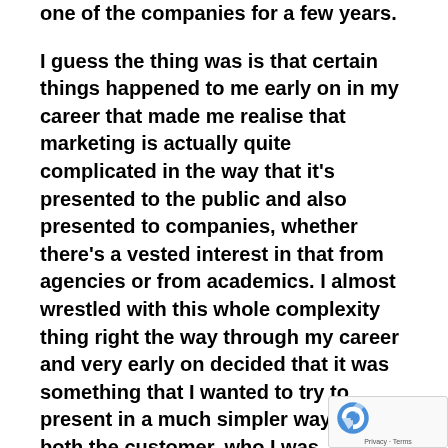one of the companies for a few years.
I guess the thing was is that certain things happened to me early on in my career that made me realise that marketing is actually quite complicated in the way that it's presented to the public and also presented to companies, whether there's a vested interest in that from agencies or from academics. I almost wrestled with this whole complexity thing right the way through my career and very early on decided that it was something that I wanted to try to present in a much simpler way for both the customer, who I was communicating to, but also anybody else within the company that I might have responsibility for like employees or whatever